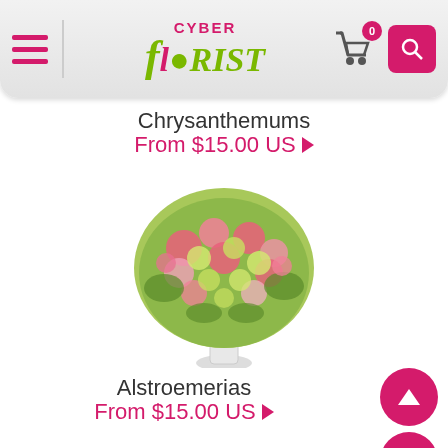[Figure (screenshot): Cyber Florist website header with hamburger menu, logo, cart icon with badge showing 0, and pink search button]
Chrysanthemums
From $15.00 US ▶
[Figure (photo): Large round bouquet of pink and yellow-green alstroemeria flowers in a white vase]
Alstroemerias
From $15.00 US ▶